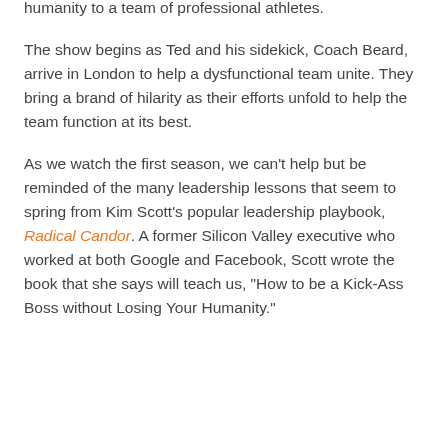development tips. Lasso, (played by Jason Sudeikis) is an American football coach who moves to England to bring humanity to a team of professional athletes.
The show begins as Ted and his sidekick, Coach Beard, arrive in London to help a dysfunctional team unite. They bring a brand of hilarity as their efforts unfold to help the team function at its best.
As we watch the first season, we can't help but be reminded of the many leadership lessons that seem to spring from Kim Scott's popular leadership playbook, Radical Candor. A former Silicon Valley executive who worked at both Google and Facebook, Scott wrote the book that she says will teach us, "How to be a Kick-Ass Boss without Losing Your Humanity."